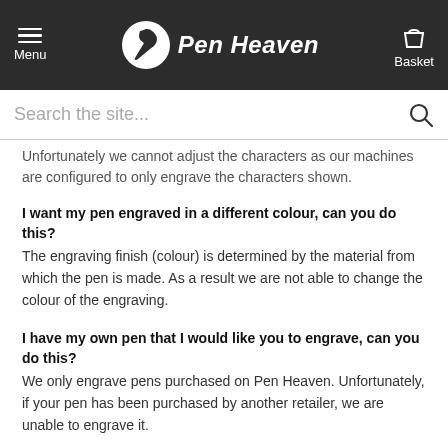Pen Heaven — Menu / Basket navigation header
Search the site...
Unfortunately we cannot adjust the characters as our machines are configured to only engrave the characters shown.
I want my pen engraved in a different colour, can you do this?
The engraving finish (colour) is determined by the material from which the pen is made. As a result we are not able to change the colour of the engraving.
I have my own pen that I would like you to engrave, can you do this?
We only engrave pens purchased on Pen Heaven. Unfortunately, if your pen has been purchased by another retailer, we are unable to engrave it.